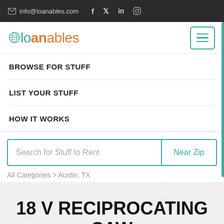info@loanables.com
[Figure (logo): Loanables logo with globe icon, teal and orange colors]
BROWSE FOR STUFF
LIST YOUR STUFF
HOW IT WORKS
Search for Stuff to Rent   Near Zip
All Categories > Austin, TX
18 V RECIPROCATING SAW